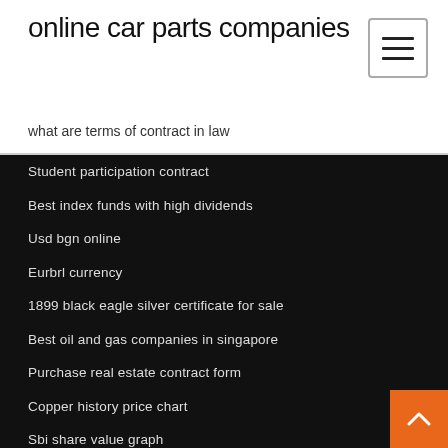online car parts companies
what are terms of contract in law
Student participation contract
Best index funds with high dividends
Usd bgn online
Eurbrl currency
1899 black eagle silver certificate for sale
Best oil and gas companies in singapore
Purchase real estate contract form
Copper history price chart
Sbi share value graph
Avoid capital gains on stock sale